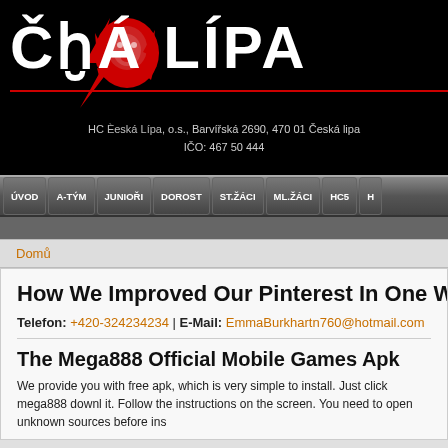[Figure (logo): HC Česká Lípa hockey club logo — black background with red and white lion/lightning bolt emblem, large white text 'ČÁ LÍPA', red horizontal line, address text below]
HC Česká Lípa, o.s., Barvířská 2690, 470 01 Česká lipa | IČO: 467 50 444
ÚVOD | A-TÝM | JUNIOŘI | DOROST | ST.ŽÁCI | ML.ŽÁCI | HC5 | H
Domů
How We Improved Our Pinterest In One W
Telefon: +420-324234234 | E-Mail: EmmaBurkhartn760@hotmail.com
The Mega888 Official Mobile Games Apk
We provide you with free apk, which is very simple to install. Just click mega888 downl it. Follow the instructions on the screen. You need to open unknown sources before ins